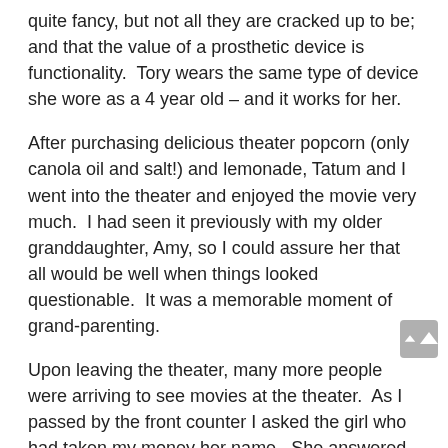quite fancy, but not all they are cracked up to be; and that the value of a prosthetic device is functionality.  Tory wears the same type of device she wore as a 4 year old – and it works for her.
After purchasing delicious theater popcorn (only canola oil and salt!) and lemonade, Tatum and I went into the theater and enjoyed the movie very much.  I had seen it previously with my older granddaughter, Amy, so I could assure her that all would be well when things looked questionable.  It was a memorable moment of grand-parenting.
Upon leaving the theater, many more people were arriving to see movies at the theater.  As I passed by the front counter I asked the girl who had taken my money her name.  She answered, “Tory.”  I asked, “Did you know a golfer named Pat Cooper?”  “Yes,” she answered with a big